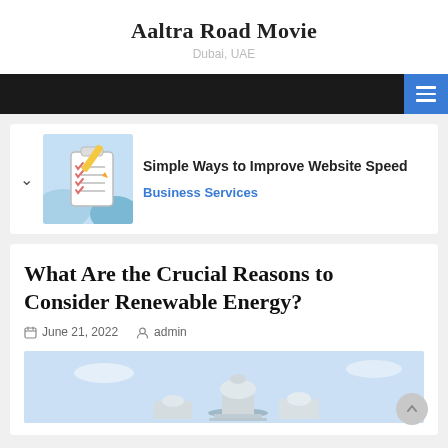Aaltra Road Movie
Dubai, UAE
Simple Ways to Improve Website Speed
Business Services
What Are the Crucial Reasons to Consider Renewable Energy?
June 21, 2022   admin
[Figure (illustration): Checklist/clipboard illustration with pencil and checkmarks on a blue background]
[Figure (photo): Government building/capitol dome image in blue sky background]